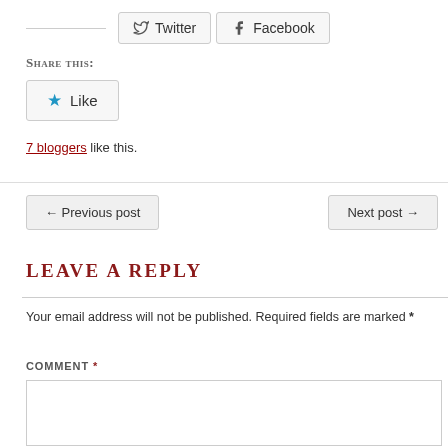[Figure (other): Social share buttons: Twitter and Facebook buttons with a horizontal rule]
Share this:
[Figure (other): Like button with star icon]
7 bloggers like this.
← Previous post
Next post →
LEAVE A REPLY
Your email address will not be published. Required fields are marked *
COMMENT *